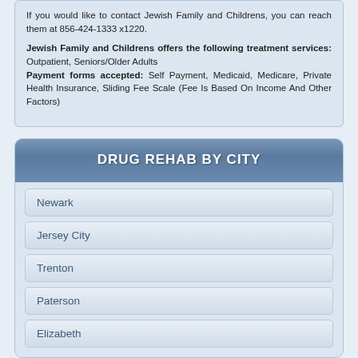If you would like to contact Jewish Family and Childrens, you can reach them at 856-424-1333 x1220.

Jewish Family and Childrens offers the following treatment services: Outpatient, Seniors/Older Adults
Payment forms accepted: Self Payment, Medicaid, Medicare, Private Health Insurance, Sliding Fee Scale (Fee Is Based On Income And Other Factors)
DRUG REHAB BY CITY
Newark
Jersey City
Trenton
Paterson
Elizabeth